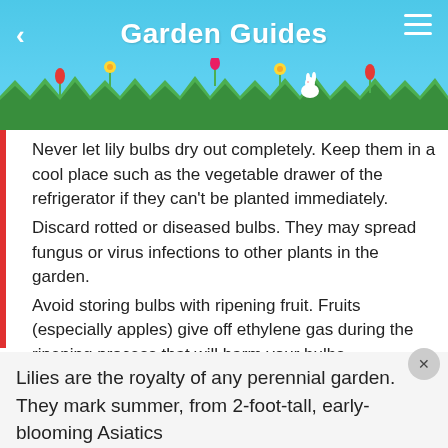Garden Guides
Never let lily bulbs dry out completely. Keep them in a cool place such as the vegetable drawer of the refrigerator if they can't be planted immediately.
Discard rotted or diseased bulbs. They may spread fungus or virus infections to other plants in the garden.
Avoid storing bulbs with ripening fruit. Fruits (especially apples) give off ethylene gas during the ripening process that will harm your bulbs.
Lilies are the royalty of any perennial garden. They mark summer, from 2-foot-tall, early-blooming Asiatics